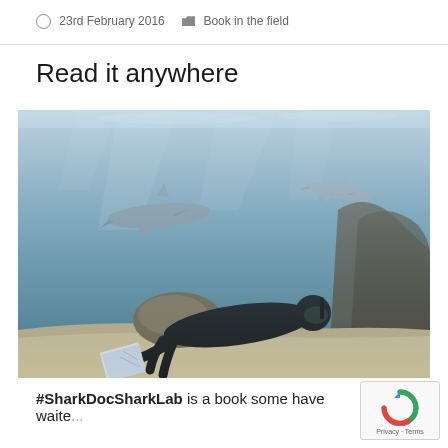23rd February 2016  Book in the field
Read it anywhere
[Figure (photo): Underwater photograph showing a scuba diver in a black wetsuit lying on the sandy ocean floor, reading an open book. Two sharks swim above in the blue-green water, with rocky reef formations visible in the background.]
#SharkDocSharkLab is a book some have waite...